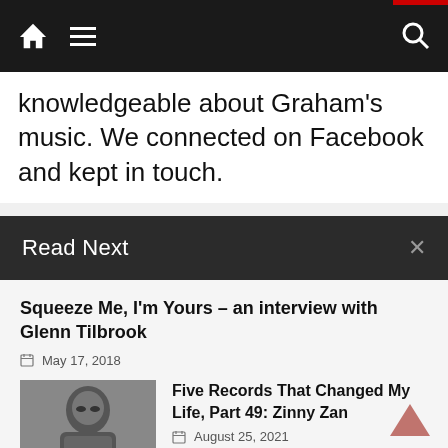Navigation bar with home, menu, and search icons
knowledgeable about Graham's music. We connected on Facebook and kept in touch.
Read Next
Squeeze Me, I'm Yours – an interview with Glenn Tilbrook
May 17, 2018
[Figure (photo): Black and white photo of a man wearing sunglasses]
Five Records That Changed My Life, Part 49: Zinny Zan
August 25, 2021